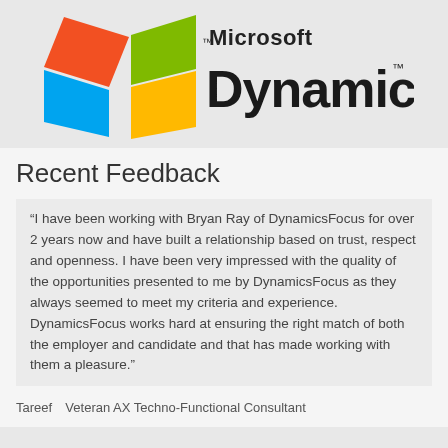[Figure (logo): Microsoft Dynamics logo with colorful flag symbol and bold 'Microsoft Dynamics' text]
Recent Feedback
“I have been working with Bryan Ray of DynamicsFocus for over 2 years now and have built a relationship based on trust, respect and openness. I have been very impressed with the quality of the opportunities presented to me by DynamicsFocus as they always seemed to meet my criteria and experience. DynamicsFocus works hard at ensuring the right match of both the employer and candidate and that has made working with them a pleasure.”
Tareef   Veteran AX Techno-Functional Consultant